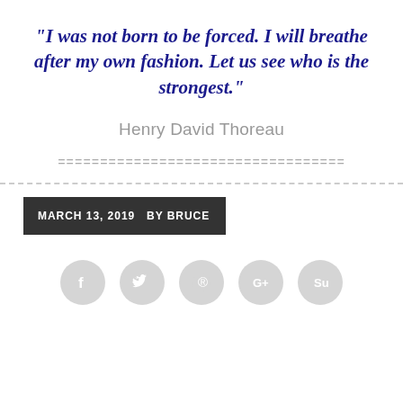“I was not born to be forced. I will breathe after my own fashion.  Let us see who is the strongest.”
Henry David Thoreau
==================================
MARCH 13, 2019  BY BRUCE
[Figure (other): Social media sharing icons: Facebook, Twitter, Pinterest, Google+, StumbleUpon]